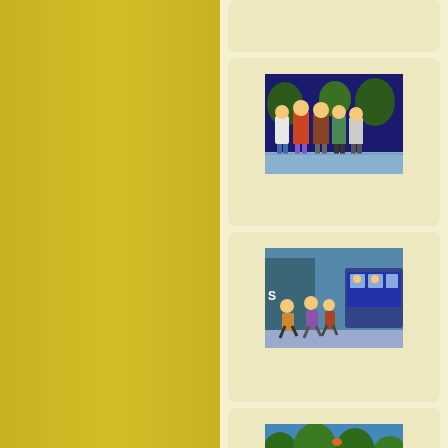[Figure (illustration): Gold/yellow vertical bar on left side of page]
[Figure (illustration): Partial card at top right, cream/tan background, no visible image]
[Figure (illustration): Card showing Simpsons cartoon still: group of characters standing outdoors at night with trees in background]
[Figure (illustration): Card showing Simpsons cartoon still: group of characters appearing to run or walk near a bus on a city street]
[Figure (illustration): Partial card at bottom right showing start of another Simpsons scene with trees]